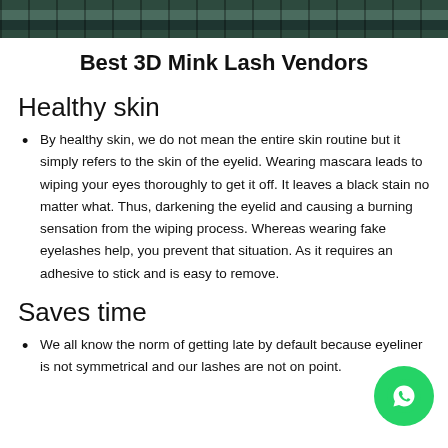[Figure (photo): Top strip image showing eyelashes/mink lash products in dark green tones]
Best 3D Mink Lash Vendors
Healthy skin
By healthy skin, we do not mean the entire skin routine but it simply refers to the skin of the eyelid. Wearing mascara leads to wiping your eyes thoroughly to get it off. It leaves a black stain no matter what. Thus, darkening the eyelid and causing a burning sensation from the wiping process. Whereas wearing fake eyelashes help, you prevent that situation. As it requires an adhesive to stick and is easy to remove.
Saves time
We all know the norm of getting late by default because eyeliner is not symmetrical and our lashes are not on point.